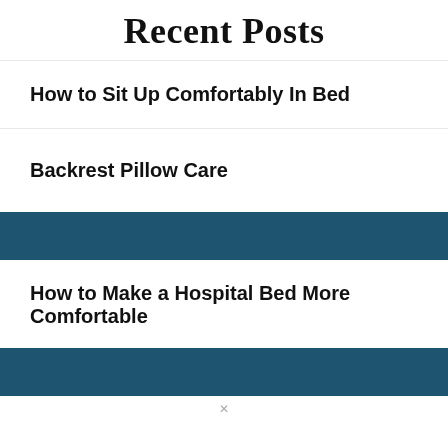Recent Posts
How to Sit Up Comfortably In Bed
Backrest Pillow Care
How to Make a Hospital Bed More Comfortable